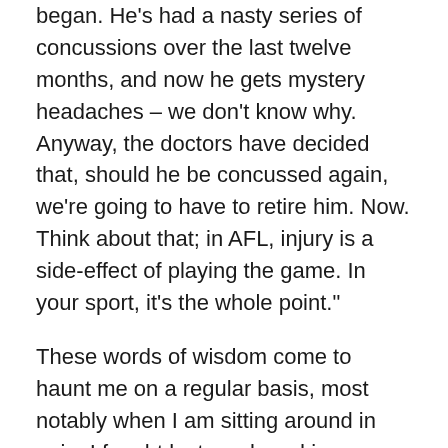began. He's had a nasty series of concussions over the last twelve months, and now he gets mystery headaches – we don't know why. Anyway, the doctors have decided that, should he be concussed again, we're going to have to retire him. Now. Think about that; in AFL, injury is a side-effect of playing the game. In your sport, it's the whole point."
These words of wisdom come to haunt me on a regular basis, most notably when I am sitting around in pain. I fought last week-end in Queensland – and won, thankfully – and now have to deal with the unpleasant fruits of the venture. To wit, my right leg. The above X-ray shows some of the damage; there are a number of suspicious fragments floating around in the joint. This has put the kibosh on my aspirations for the festival of arse-kicking that is set to transpire on October 17. More gruesome,